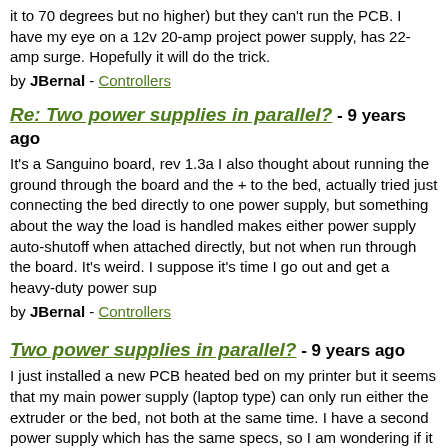it to 70 degrees but no higher) but they can't run the PCB. I have my eye on a 12v 20-amp project power supply, has 22-amp surge. Hopefully it will do the trick.
by JBernal - Controllers
Re: Two power supplies in parallel? - 9 years ago
It's a Sanguino board, rev 1.3a I also thought about running the ground through the board and the + to the bed, actually tried just connecting the bed directly to one power supply, but something about the way the load is handled makes either power supply auto-shutoff when attached directly, but not when run through the board. It's weird. I suppose it's time I go out and get a heavy-duty power sup
by JBernal - Controllers
Two power supplies in parallel? - 9 years ago
I just installed a new PCB heated bed on my printer but it seems that my main power supply (laptop type) can only run either the extruder or the bed, not both at the same time. I have a second power supply which has the same specs, so I am wondering if it would be safe to wire them in parallel so as to distribute the load among the two of them, or would this create a fireworks display?
by JBernal - Controllers
Re: Why would my hotend shut off after 5 hours into an 8 hour print? - 9 years ago